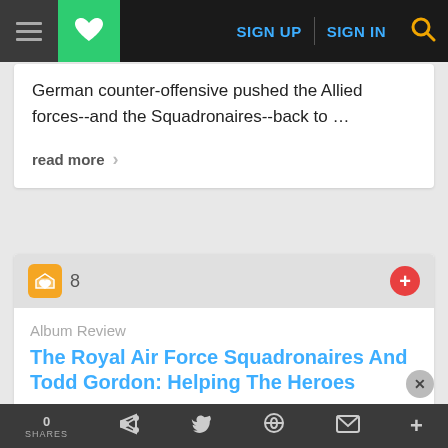SIGN UP   SIGN IN
German counter-offensive pushed the Allied forces--and the Squadronaires--back to …
read more →
8
Album Review
The Royal Air Force Squadronaires And Todd Gordon: Helping The Heroes
[Figure (photo): Album cover for The Royal Air Force Squadronaires And Todd Gordon: Helping The Heroes]
by Bruce Lindsay
October 29, 2012
0 SHARES  f  t  reddit  mail  +